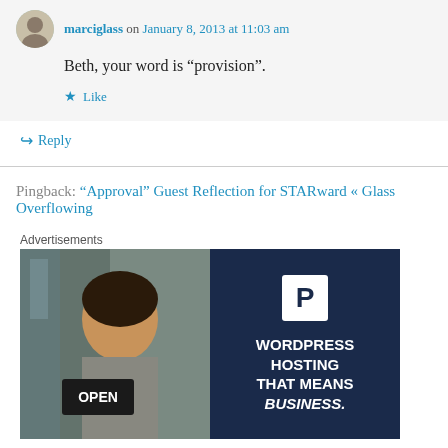marciglass on January 8, 2013 at 11:03 am
Beth, your word is “provision”.
★ Like
↪ Reply
Pingback: “Approval” Guest Reflection for STARward « Glass Overflowing
Advertisements
[Figure (photo): WordPress hosting advertisement banner. Left half: photo of a smiling woman holding an OPEN sign. Right half: dark navy blue background with a white P logo box and text reading WORDPRESS HOSTING THAT MEANS BUSINESS.]